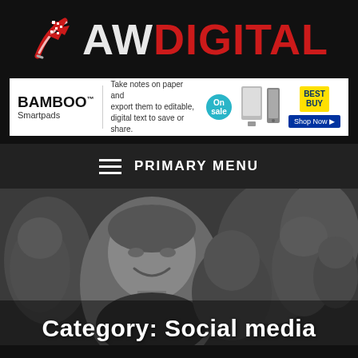[Figure (logo): AW DIGITAL logo with red feather/brush icon, white AW and red DIGITAL text on black background]
[Figure (photo): Bamboo Smartpads advertisement banner on white background: BAMBOO Smartpads logo, text 'Take notes on paper and export them to editable, digital text to save or share.', On sale badge, product images, Best Buy logo, Shop Now button]
PRIMARY MENU
[Figure (photo): Black and white crowd photograph showing a smiling man in foreground with other people behind him]
Category: Social media